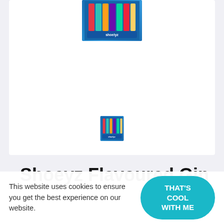[Figure (photo): Shoelyz flavoured gin product display image showing colourful lace-style packaging against a blue background]
[Figure (photo): Small thumbnail of Shoelyz flavoured gin product]
Shoeyz Flavoured Gin
This website uses cookies to ensure you get the best experience on our website.
THAT'S COOL WITH ME